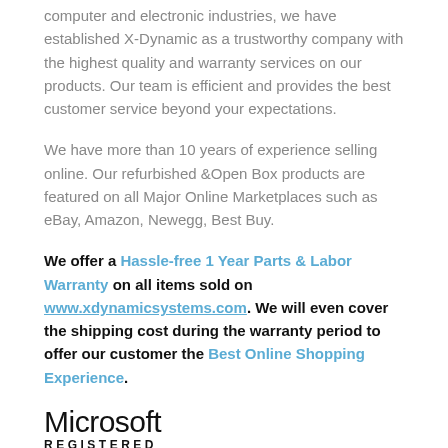computer and electronic industries, we have established X-Dynamic as a trustworthy company with the highest quality and warranty services on our products. Our team is efficient and provides the best customer service beyond your expectations.
We have more than 10 years of experience selling online. Our refurbished &Open Box products are featured on all Major Online Marketplaces such as eBay, Amazon, Newegg, Best Buy.
We offer a Hassle-free 1 Year Parts & Labor Warranty on all items sold on www.xdynamicsystems.com. We will even cover the shipping cost during the warranty period to offer our customer the Best Online Shopping Experience.
[Figure (logo): Microsoft Registered logo text]